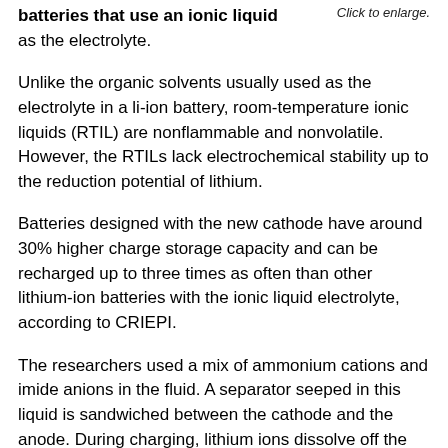batteries that use an ionic liquid as the electrolyte.
Click to enlarge.
Unlike the organic solvents usually used as the electrolyte in a li-ion battery, room-temperature ionic liquids (RTIL) are nonflammable and nonvolatile. However, the RTILs lack electrochemical stability up to the reduction potential of lithium.
Batteries designed with the new cathode have around 30% higher charge storage capacity and can be recharged up to three times as often than other lithium-ion batteries with the ionic liquid electrolyte, according to CRIEPI.
The researchers used a mix of ammonium cations and imide anions in the fluid. A separator seeped in this liquid is sandwiched between the cathode and the anode. During charging, lithium ions dissolve off the cathode and migrate to the anode via the separator.
To make the new cathode, the team applied a nanolayer of zirconium oxide (ZrO₂) on a lithium cobalt oxide (LiCoO₂) cathode. In previous versions of the cathode, the particles